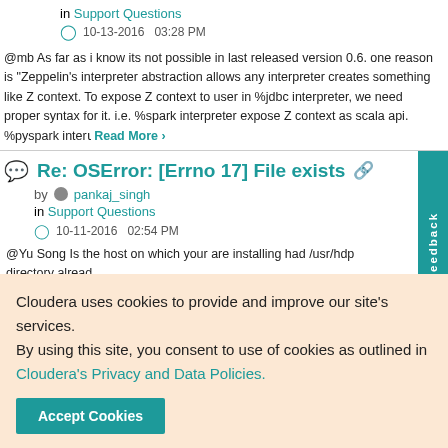in Support Questions
10-13-2016   03:28 PM
@mb As far as i know its not possible in last released version 0.6. one reason is "Zeppelin's interpreter abstraction allows any interpreter creates something like Z context. To expose Z context to user in %jdbc interpreter, we need proper syntax for it. i.e. %spark interpreter expose Z context as scala api. %pyspark inter…  Read More
Re: OSError: [Errno 17] File exists
by pankaj_singh
in Support Questions
10-11-2016   02:54 PM
@Yu Song Is the host on which your are installing had /usr/hdp directory alread
Cloudera uses cookies to provide and improve our site's services. By using this site, you consent to use of cookies as outlined in Cloudera's Privacy and Data Policies.
Accept Cookies